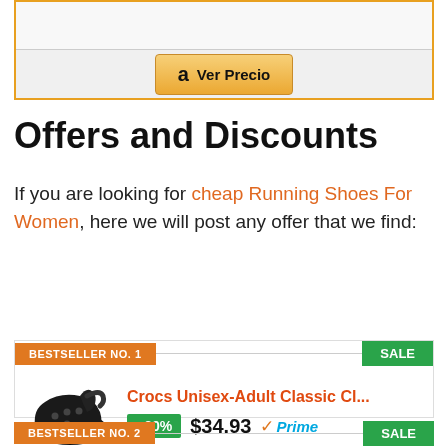[Figure (other): Amazon product widget with orange border, light gray background, and a 'Ver Precio' button with Amazon logo]
Offers and Discounts
If you are looking for cheap Running Shoes For Women, here we will post any offer that we find:
[Figure (other): Product card showing BESTSELLER NO. 1 badge, SALE badge, Crocs Unisex-Adult Classic Cl... with -30% discount badge, price $34.93, and Prime logo. Image of black crocs shoe.]
[Figure (other): BESTSELLER NO. 2 header bar with SALE badge, partially visible]